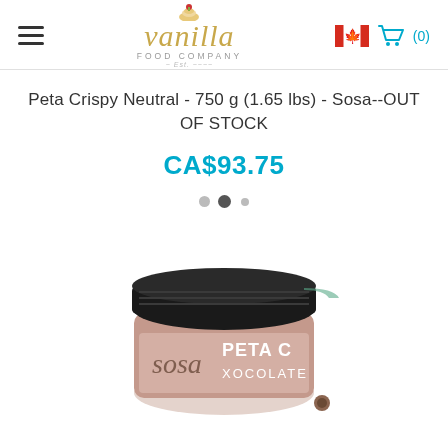vanilla food company - navigation header with hamburger menu, logo, Canadian flag, and cart (0)
Peta Crispy Neutral - 750 g (1.65 lbs) - Sosa--OUT OF STOCK
CA$93.75
[Figure (photo): A jar of Sosa Peta Crispy product with a dark/black lid, brownish-pink body with 'PETA C...' and 'XOCOLATE' text visible on the label, photographed against a white background.]